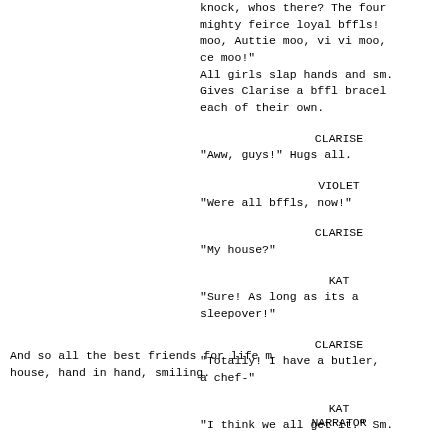knock, whos there? The four mighty feirce loyal bffls! moo, Auttie moo, vi vi moo, ce moo!"
All girls slap hands and sm. Gives Clarise a bffl bracelet each of their own.
CLARISE
"Aww, guys!" Hugs all.
VIOLET
"Were all bffls, now!"
CLARISE
"My house?"
KAT
"Sure! As long as its a sleepover!"
CLARISE
"Totally! I have a butler, a chef-"
KAT
"I think we all get it." Sm.
And so all the best friends for life m house, hand in hand, smiling.
NARRATOR